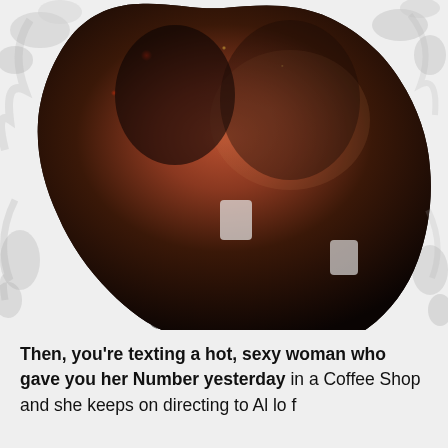[Figure (photo): A couple leaning close together romantically in a dimly lit cafe setting, both holding white mugs/cups, with bokeh lights in the background. The woman is smiling with her hair pulled back, wearing a light pink/beige cardigan. The man has a beard and is wearing a dark navy sweater and plaid shirt. The photo is masked with a watercolor/ink splatter effect creating an irregular vignette border.]
Then, you're texting a hot, sexy woman who gave you her Number yesterday in a Coffee Shop and she keeps on directing to Al lo f